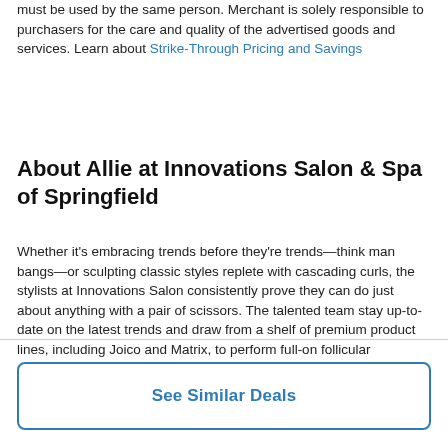must be used by the same person. Merchant is solely responsible to purchasers for the care and quality of the advertised goods and services. Learn about Strike-Through Pricing and Savings
About Allie at Innovations Salon & Spa of Springfield
Whether it's embracing trends before they're trends—think man bangs—or sculpting classic styles replete with cascading curls, the stylists at Innovations Salon consistently prove they can do just about anything with a pair of scissors. The talented team stay up-to-date on the latest trends and draw from a shelf of premium product lines, including Joico and Matrix, to perform full-on follicular makeovers that can include the likes of highlights, texturizing treatments, and bright, attention-grabbing colors.
See Similar Deals